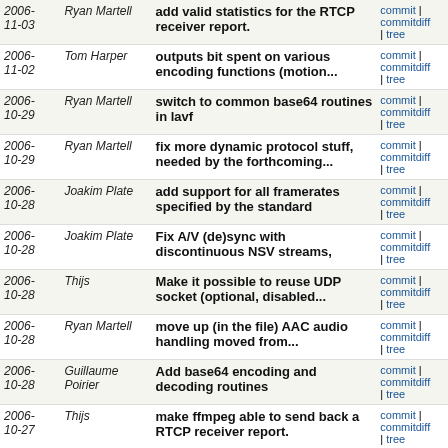| Date | Author | Message | Links |
| --- | --- | --- | --- |
| 2006-11-03 | Ryan Martell | add valid statistics for the RTCP receiver report. | commit | commitdiff | tree |
| 2006-11-02 | Tom Harper | outputs bit spent on various encoding functions (motion... | commit | commitdiff | tree |
| 2006-10-29 | Ryan Martell | switch to common base64 routines in lavf | commit | commitdiff | tree |
| 2006-10-29 | Ryan Martell | fix more dynamic protocol stuff, needed by the forthcoming... | commit | commitdiff | tree |
| 2006-10-28 | Joakim Plate | add support for all framerates specified by the standard | commit | commitdiff | tree |
| 2006-10-28 | Joakim Plate | Fix A/V (de)sync with discontinuous NSV streams, | commit | commitdiff | tree |
| 2006-10-28 | Thijs | Make it possible to reuse UDP socket (optional, disabled... | commit | commitdiff | tree |
| 2006-10-28 | Ryan Martell | move up (in the file) AAC audio handling moved from... | commit | commitdiff | tree |
| 2006-10-28 | Guillaume Poirier | Add base64 encoding and decoding routines | commit | commitdiff | tree |
| 2006-10-27 | Thijs | make ffmpeg able to send back a RTCP receiver report. | commit | commitdiff | tree |
| 2006-10-27 | Ryan Martell | indentation fix, patch by Ryan Martell % rdm4 A martellventu... | commit | commitdiff | tree |
| 2006-10-27 | Guillaume Poirier | Last fix of licence header | commit | commitdiff | tree |
| 2006-10-26 | Guillaume Poirier | move licence header fixes | commit | commitdiff | tree |